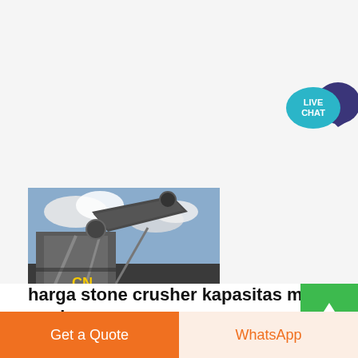[Figure (photo): Stone crusher machine with conveyor belt and CN branding, photographed outdoors against a cloudy sky]
[Figure (other): Live Chat bubble icon with teal circle labeled LIVE CHAT and dark purple speech bubble behind it]
harga stone crusher kapasitas m... per jam
Get a Quote
WhatsApp